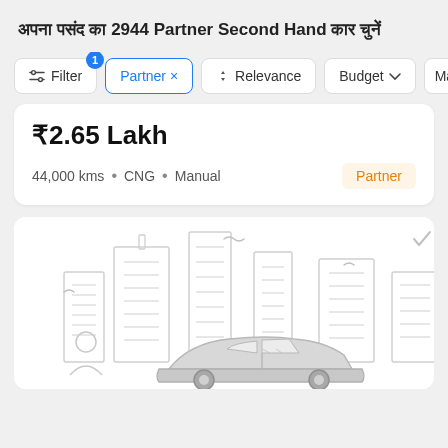अपना पसंद का 2944 Partner Second Hand कार चुनें
Filter  Partner ×  Relevance  Budget  Ma
₹2.65 Lakh
44,000 kms • CNG • Manual  Partner
[Figure (illustration): Car listing placeholder illustration showing a car silhouette with city buildings in the background as a line-art drawing]